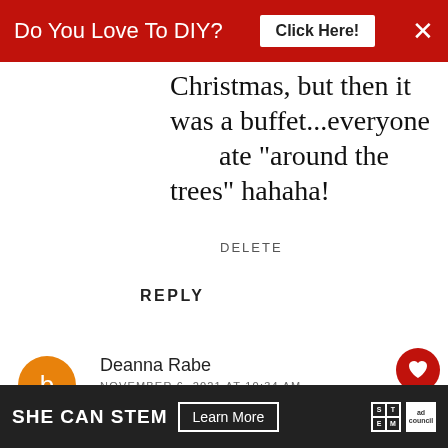[Figure (screenshot): Red banner advertisement: 'Do You Love To DIY? Click Here!' with close X button]
Christmas, but then it was a buffet...everyone ate "around the trees" hahaha!
DELETE
REPLY
Deanna Rabe
NOVEMBER 6, 2021 AT 10:34 AM
I have battery operated candles, not tapers though. I love them!
I'm busy planning for our big family
[Figure (screenshot): What's Next promotional widget: '11 Fabulous Fall Home...']
[Figure (screenshot): Bottom advertisement bar: SHE CAN STEM - Learn More - STEM logo - Ad Council logo]